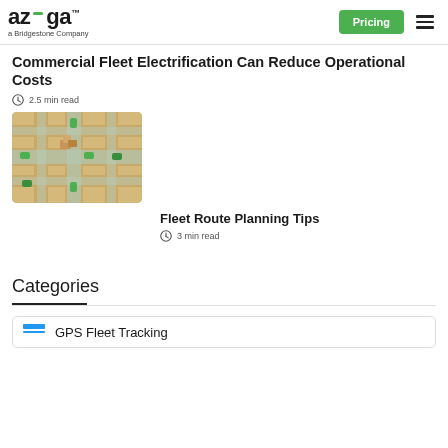azuga - a Bridgestone Company | Pricing
Commercial Fleet Electrification Can Reduce Operational Costs
2.5 min read
[Figure (photo): Aerial view illustration of green electric delivery vehicles on city streets with cardboard packages]
Fleet Route Planning Tips
3 min read
Categories
GPS Fleet Tracking